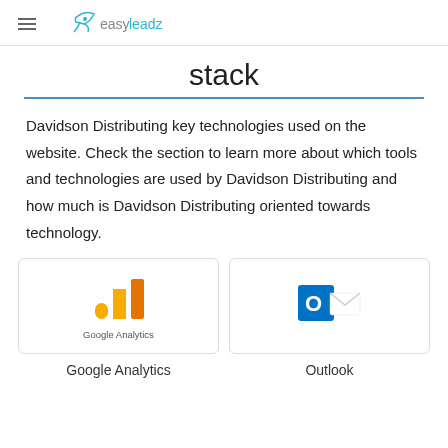easy leadz
stack
Davidson Distributing key technologies used on the website. Check the section to learn more about which tools and technologies are used by Davidson Distributing and how much is Davidson Distributing oriented towards technology.
[Figure (logo): Google Analytics logo with bar chart icon in orange/yellow and text 'Google Analytics']
[Figure (logo): Microsoft Outlook logo icon in blue with envelope]
Google Analytics
Outlook